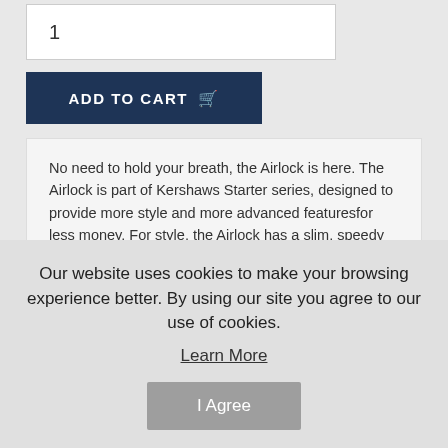1
ADD TO CART
No need to hold your breath, the Airlock is here. The Airlock is part of Kershaws Starter series, designed to provide more style and more advanced featuresfor less money. For style, the Airlock has a slim, speedy look with a distinctive cutout in the handle that mirrors the handle shape. This airlock lets you see through to the stainless steel liners. A custom pivot works with the handle machining for an integrated look. The reversible pocketclip looks like a pen clip and helps the Airlock almost disappear in your pocket.
Our website uses cookies to make your browsing experience better. By using our site you agree to our use of cookies.
Learn More
I Agree